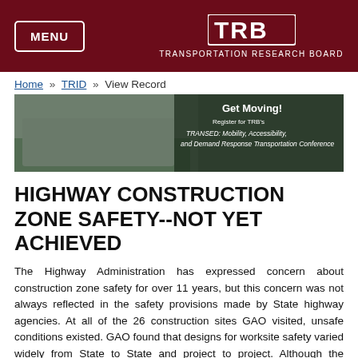MENU | TRB TRANSPORTATION RESEARCH BOARD
Home » TRID » View Record
[Figure (photo): Group photo of people at a conference, with text overlay: 'Get Moving! Register for TRB's TRANSED: Mobility, Accessibility, and Demand Response Transportation Conference']
HIGHWAY CONSTRUCTION ZONE SAFETY--NOT YET ACHIEVED
The Highway Administration has expressed concern about construction zone safety for over 11 years, but this concern was not always reflected in the safety provisions made by State highway agencies. At all of the 26 construction sites GAO visited, unsafe conditions existed. GAO found that designs for worksite safety varied widely from State to State and project to project. Although the Highway